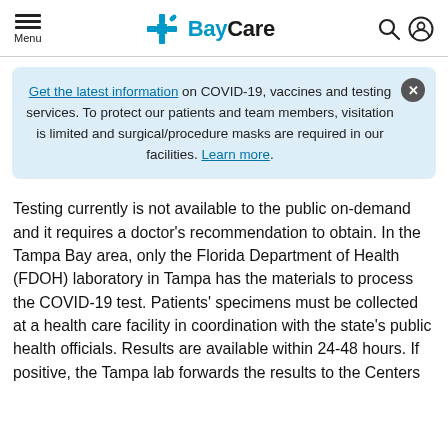Menu | BayCare
Get the latest information on COVID-19, vaccines and testing services. To protect our patients and team members, visitation is limited and surgical/procedure masks are required in our facilities. Learn more.
Testing currently is not available to the public on-demand and it requires a doctor’s recommendation to obtain. In the Tampa Bay area, only the Florida Department of Health (FDOH) laboratory in Tampa has the materials to process the COVID-19 test. Patients’ specimens must be collected at a health care facility in coordination with the state’s public health officials. Results are available within 24-48 hours. If positive, the Tampa lab forwards the results to the Centers